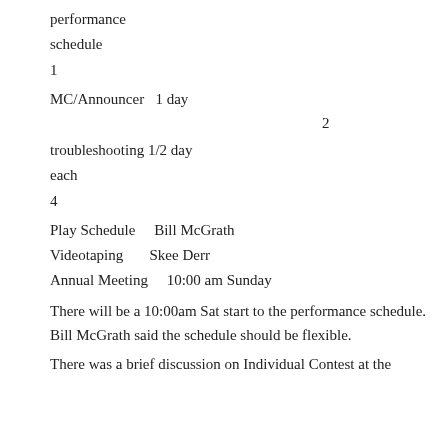performance
schedule
1
MC/Announcer   1 day
2
troubleshooting 1/2 day
each
4
Play Schedule      Bill McGrath
Videotaping        Skee Derr
Annual Meeting      10:00 am Sunday
There will be a 10:00am Sat start to the performance schedule. Bill McGrath said the schedule should be flexible.
There was a brief discussion on Individual Contest at the